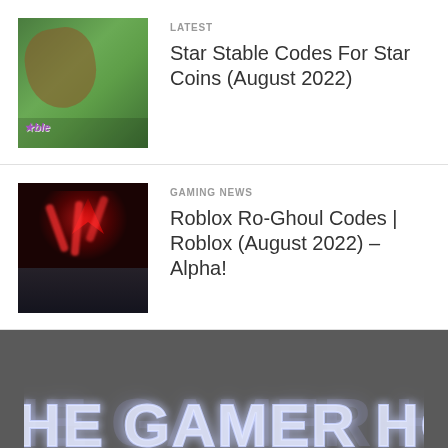[Figure (photo): Thumbnail image for Star Stable game showing horses on green field with Star Stable logo]
LATEST
Star Stable Codes For Star Coins (August 2022)
[Figure (photo): Thumbnail image for Roblox Ro-Ghoul showing a dark red glowing creature with tentacles]
GAMING NEWS
Roblox Ro-Ghoul Codes | Roblox (August 2022) – Alpha!
[Figure (logo): The Gamer HQ neon-glow logo on dark gray background]
Gamer HQ is the number 1 resource for Gaming, Game codes, tips...